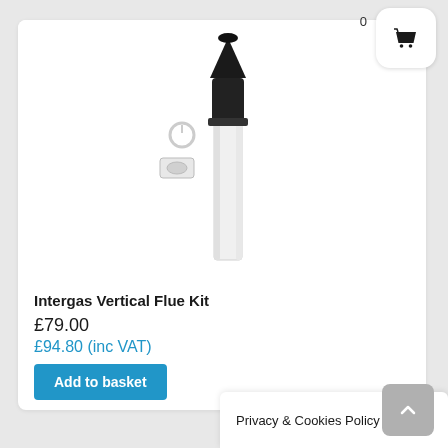[Figure (photo): Intergas Vertical Flue Kit product image showing a white cylindrical flue pipe with black conical terminal top, plus a small white collar/connector and a white circular sealing plate accessory]
Intergas Vertical Flue Kit
£79.00
£94.80 (inc VAT)
Privacy & Cookies Policy